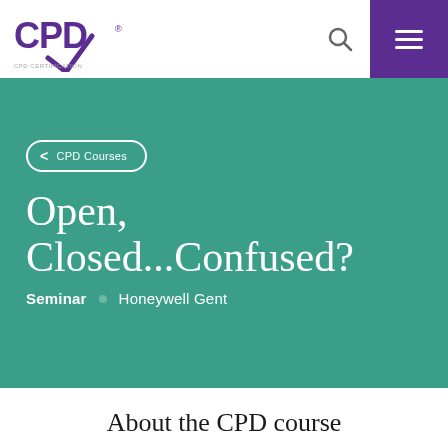[Figure (logo): CPD logo with purple text and checkmark]
CPD Courses — Open, Closed...Confused? Seminar · Honeywell Gent
< CPD Courses
Open, Closed...Confused?
Seminar • Honeywell Gent
About the CPD course